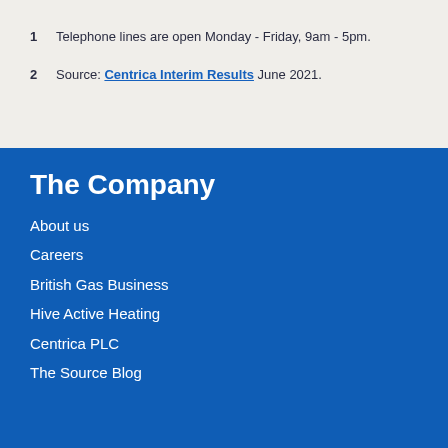1  Telephone lines are open Monday - Friday, 9am - 5pm.
2  Source: Centrica Interim Results June 2021.
The Company
About us
Careers
British Gas Business
Hive Active Heating
Centrica PLC
The Source Blog